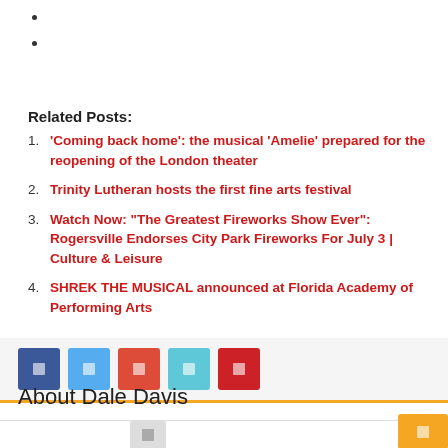Related Posts:
1. ‘Coming back home’: the musical ‘Amelie’ prepared for the reopening of the London theater
2. Trinity Lutheran hosts the first fine arts festival
3. Watch Now: “The Greatest Fireworks Show Ever”: Rogersville Endorses City Park Fireworks For July 3 | Culture & Leisure
4. SHREK THE MUSICAL announced at Florida Academy of Performing Arts
[Figure (infographic): Social sharing buttons: Facebook (blue), Twitter (light blue), Google+ (orange-red), LinkedIn (teal), Pinterest (red)]
About Dale Davis